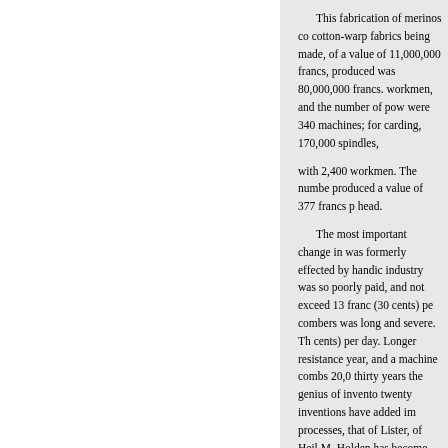This fabrication of merinos co cotton-warp fabrics being made, of a value of 11,000,000 francs, produced was 80,000,000 francs. workmen, and the number of pow were 340 machines; for carding, 170,000 spindles, with 2,400 workmen. The numbe produced a value of 377 francs p head. The most important change in was formerly effected by handic industry was so poorly paid, and not exceed 13 franc (30 cents) pe combers was long and severe. Th cents) per day. Longer resistance year, and a machine combs 20,0 thirty years the genius of invento twenty inventions have added im processes, that of Lister, of Heil M. Holden has become the prop